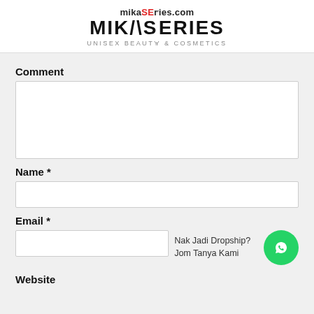[Figure (logo): MikaSeries logo with URL 'mikaSEries.com', brand name 'MIKASERIES', and tagline 'UNISEX BEAUTY & COSMETICS']
Comment
[textarea field]
Name *
[text input field]
Email *
[email input field] Nak Jadi Dropship? Jom Tanya Kami [WhatsApp button]
Website